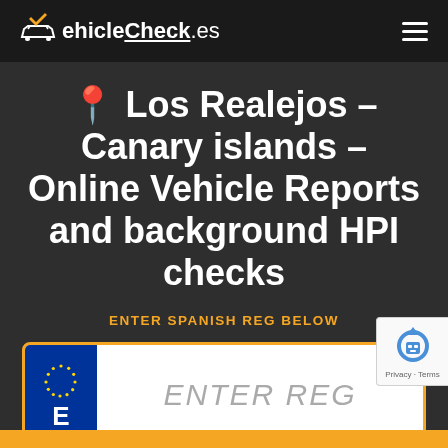VehicleCheck.es
📍 Los Realejos – Canary islands – Online Vehicle Reports and background HPI checks
ENTER SPANISH REG BELOW
[Figure (other): Spanish vehicle registration plate input field with EU blue strip showing stars and letter E, and placeholder text ENTER REG]
[Figure (other): Google reCAPTCHA badge with robot icon and Privacy - Terms text]